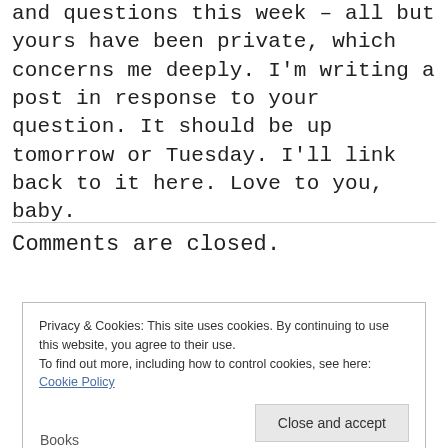and questions this week – all but yours have been private, which concerns me deeply. I'm writing a post in response to your question. It should be up tomorrow or Tuesday. I'll link back to it here. Love to you, baby.
Comments are closed.
Privacy & Cookies: This site uses cookies. By continuing to use this website, you agree to their use.
To find out more, including how to control cookies, see here: Cookie Policy
Books